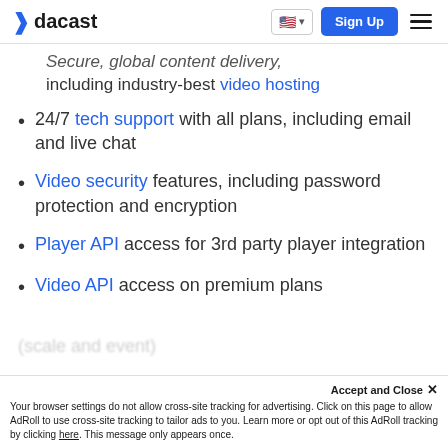dacast | Sign Up
Secure, global content delivery, including industry-best video hosting
24/7 tech support with all plans, including email and live chat
Video security features, including password protection and encryption
Player API access for 3rd party player integration
Video API access on premium plans (scale and event)
Your browser settings do not allow cross-site tracking for advertising. Click on this page to allow AdRoll to use cross-site tracking to tailor ads to you. Learn more or opt out of this AdRoll tracking by clicking here. This message only appears once.